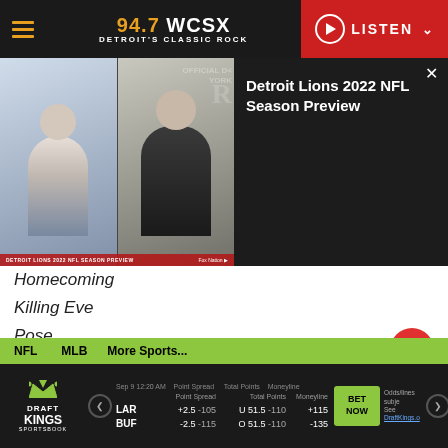94.7 WCSX – Detroit's Classic Rock – LISTEN
[Figure (screenshot): Video popup showing Detroit Lions 2022 NFL Season Preview with two people on screen]
Homecoming
Killing Eve
Pose
Best Television Series – Musical or Comedy
Barry
The Good Place
NFL  MLB  More Sports...  DraftKings Sportsbook: Sep 9 12:20 AM · LAR +2.5 -105 / BUF -2.5 -115 · U 51.5 -110 / O 51.5 -110 · +115 / -135 · BET NOW · Odds/lines subject to change. See DraftKings.com